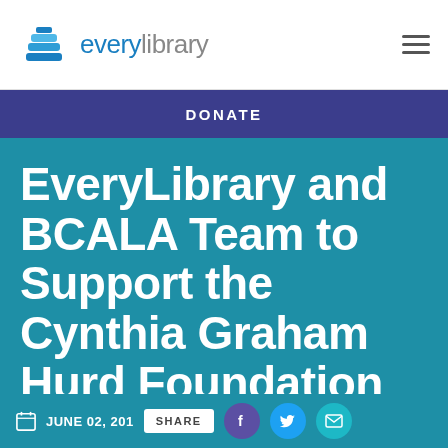everylibrary
DONATE
EveryLibrary and BCALA Team to Support the Cynthia Graham Hurd Foundation
JUNE 02, 201